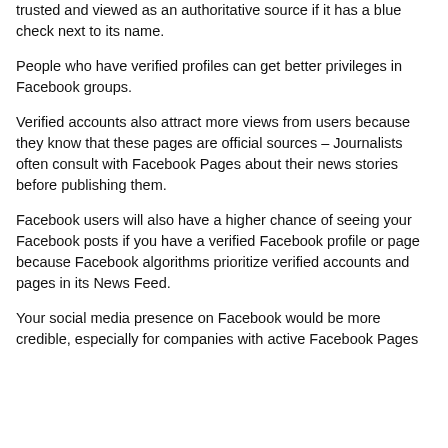trusted and viewed as an authoritative source if it has a blue check next to its name.
People who have verified profiles can get better privileges in Facebook groups.
Verified accounts also attract more views from users because they know that these pages are official sources – Journalists often consult with Facebook Pages about their news stories before publishing them.
Facebook users will also have a higher chance of seeing your Facebook posts if you have a verified Facebook profile or page because Facebook algorithms prioritize verified accounts and pages in its News Feed.
Your social media presence on Facebook would be more credible, especially for companies with active Facebook Pages